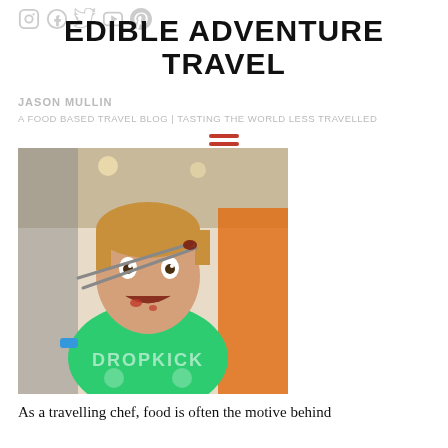[Figure (logo): Social media icons: Instagram, Facebook, Twitter, YouTube, Pinterest in light grey]
EDIBLE ADVENTURE TRAVEL
JASON MULLIN
A FOOD BASED TRAVEL BLOG | TASTING THE WORLD LESS TRAVELLED
[Figure (illustration): Red hamburger menu icon (three horizontal red lines)]
[Figure (photo): A man with reddish-blonde hair wearing a green Dropkick t-shirt, eating something with chopsticks, appearing excited with food/sauce on his face. Indoor food market setting.]
As a travelling chef, food is often the motive behind